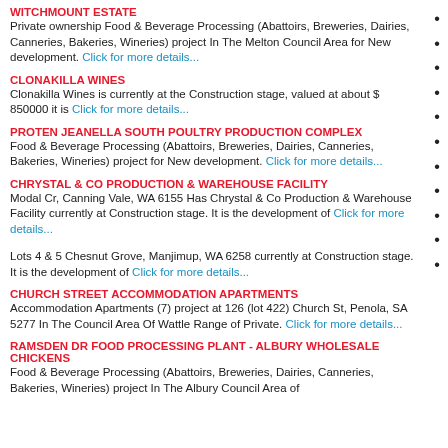WITCHMOUNT ESTATE - Private ownership Food & Beverage Processing (Abattoirs, Breweries, Dairies, Canneries, Bakeries, Wineries) project In The Melton Council Area for New development. Click for more details...
CLONAKILLA WINES - Clonakilla Wines is currently at the Construction stage, valued at about $ 850000 it is Click for more details...
PROTEN JEANELLA SOUTH POULTRY PRODUCTION COMPLEX - Food & Beverage Processing (Abattoirs, Breweries, Dairies, Canneries, Bakeries, Wineries) project for New development. Click for more details...
CHRYSTAL & CO PRODUCTION & WAREHOUSE FACILITY - Modal Cr, Canning Vale, WA 6155 Has Chrystal & Co Production & Warehouse Facility currently at Construction stage. It is the development of Click for more details...
Lots 4 & 5 Chesnut Grove, Manjimup, WA 6258 currently at Construction stage. It is the development of Click for more details...
CHURCH STREET ACCOMMODATION APARTMENTS - Accommodation Apartments (7) project at 126 (lot 422) Church St, Penola, SA 5277 In The Council Area Of Wattle Range of Private. Click for more details...
RAMSDEN DR FOOD PROCESSING PLANT - ALBURY WHOLESALE CHICKENS - Food & Beverage Processing (Abattoirs, Breweries, Dairies, Canneries, Bakeries, Wineries) project In The Albury Council Area of Food Processing Plant... Click for more details...